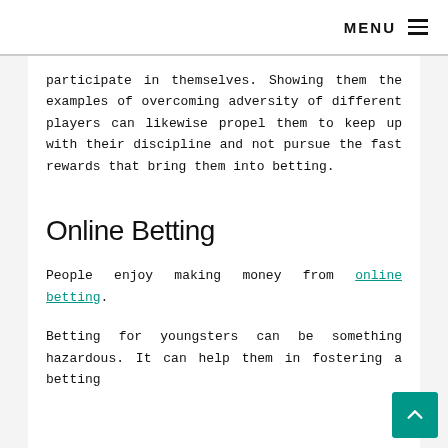MENU ≡
participate in themselves. Showing them the examples of overcoming adversity of different players can likewise propel them to keep up with their discipline and not pursue the fast rewards that bring them into betting.
Online Betting
People enjoy making money from online betting.
Betting for youngsters can be something hazardous. It can help them in fostering a betting